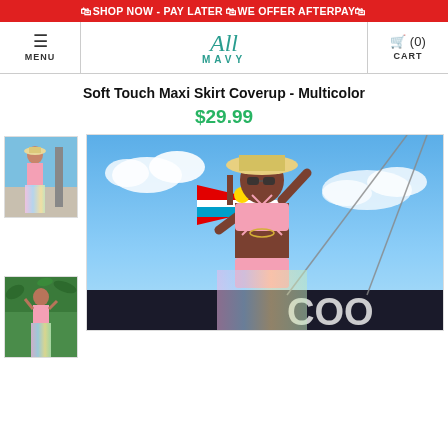🛍SHOP NOW - PAY LATER 🛍WE OFFER AFTERPAY🛍
[Figure (screenshot): All Mavy store navigation bar with hamburger menu, logo, and cart]
Soft Touch Maxi Skirt Coverup - Multicolor
$29.99
[Figure (photo): Thumbnail 1: Model wearing pink bikini and multicolor maxi skirt coverup on a dock]
[Figure (photo): Thumbnail 2: Model wearing pink bikini and multicolor maxi skirt in tropical setting]
[Figure (photo): Main product photo: woman in pink bikini with multicolor sheer maxi skirt, holding flag, on a boat against blue sky]